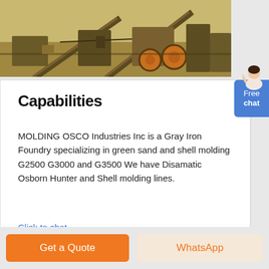[Figure (photo): Aerial/industrial view of a gray iron foundry facility with heavy machinery, conveyor belts, and processing equipment in an outdoor industrial setting]
Capabilities
MOLDING OSCO Industries Inc is a Gray Iron Foundry specializing in green sand and shell molding G2500 G3000 and G3500 We have Disamatic Osborn Hunter and Shell molding lines.
Click to chat
Get a Quote
WhatsApp